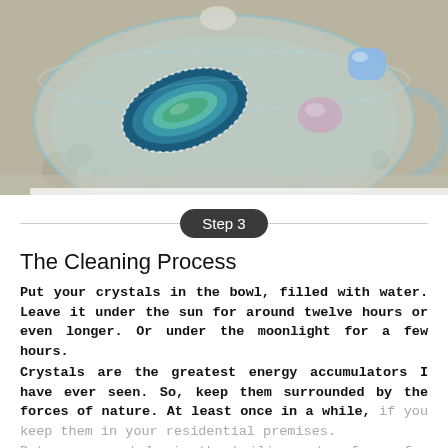[Figure (photo): Photo of a glass bowl filled with water containing crystals including a blue agate slice, a purple stone, and a blue stone, placed on a concrete surface]
Step 3
The Cleaning Process
Put your crystals in the bowl, filled with water. Leave it under the sun for around twelve hours or even longer. Or under the moonlight for a few hours.
Crystals are the greatest energy accumulators I have ever seen. So, keep them surrounded by the forces of nature. At least once in a while, if you keep them in your residential premises.
Put your crystals in the boiling water for a few minutes. You can put them under the sun after the cooking. The process is a good